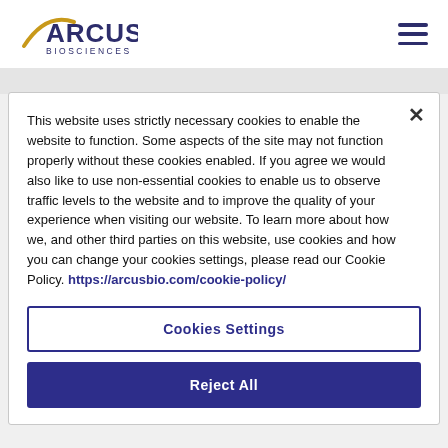[Figure (logo): Arcus Biosciences logo — stylized arc swoosh with 'ARCUS' in large blue letters and 'BIOSCIENCES' below in smaller spaced blue text]
This website uses strictly necessary cookies to enable the website to function. Some aspects of the site may not function properly without these cookies enabled. If you agree we would also like to use non-essential cookies to enable us to observe traffic levels to the website and to improve the quality of your experience when visiting our website. To learn more about how we, and other third parties on this website, use cookies and how you can change your cookies settings, please read our Cookie Policy. https://arcusbio.com/cookie-policy/
Cookies Settings
Reject All